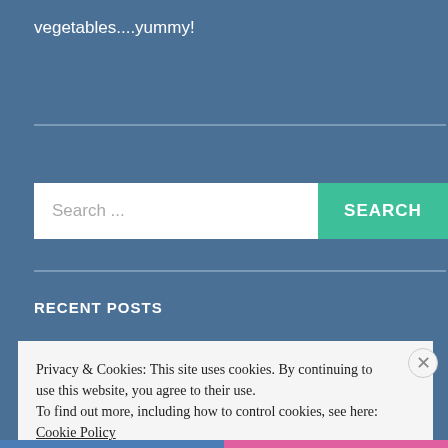vegetables....yummy!
[Figure (screenshot): Search bar with white input field showing 'Search ...' placeholder and a teal 'SEARCH' button on a blue-grey background]
RECENT POSTS
Privacy & Cookies: This site uses cookies. By continuing to use this website, you agree to their use.
To find out more, including how to control cookies, see here: Cookie Policy
Close and accept